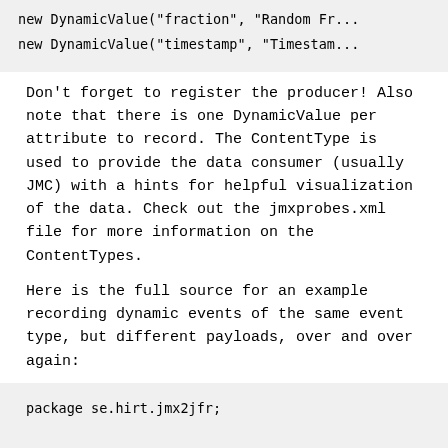[Figure (screenshot): Code snippet showing two lines: new DynamicValue("fraction", "Random Fr... and new DynamicValue("timestamp", "Timestam...]
Don't forget to register the producer! Also note that there is one DynamicValue per attribute to record. The ContentType is used to provide the data consumer (usually JMC) with a hints for helpful visualization of the data. Check out the jmxprobes.xml file for more information on the ContentTypes.
Here is the full source for an example recording dynamic events of the same event type, but different payloads, over and over again:
[Figure (screenshot): Code block beginning with: package se.hirt.jmx2jfr; followed by import java.util.Random;]